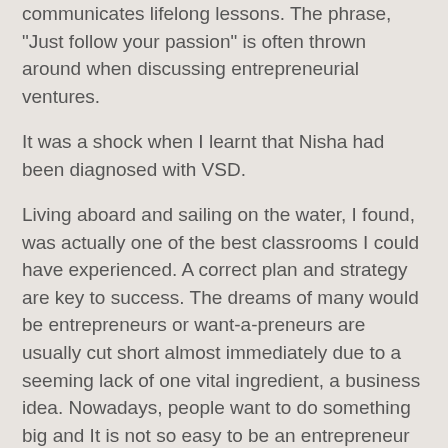communicates lifelong lessons. The phrase, "Just follow your passion" is often thrown around when discussing entrepreneurial ventures.
It was a shock when I learnt that Nisha had been diagnosed with VSD.
Living aboard and sailing on the water, I found, was actually one of the best classrooms I could have experienced. A correct plan and strategy are key to success. The dreams of many would be entrepreneurs or want-a-preneurs are usually cut short almost immediately due to a seeming lack of one vital ingredient, a business idea. Nowadays, people want to do something big and It is not so easy to be an entrepreneur but not even impossible.
A positive attitude somewhere attracts positive powers.